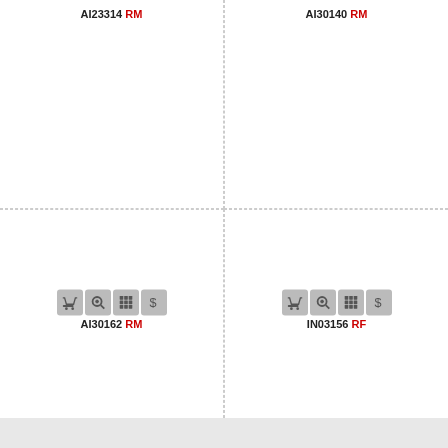AI23314 RM
AI30140 RM
[Figure (screenshot): Four icon buttons: cart, zoom, grid, dollar sign]
AI30162 RM
[Figure (screenshot): Four icon buttons: cart, zoom, grid, dollar sign]
IN03156 RF